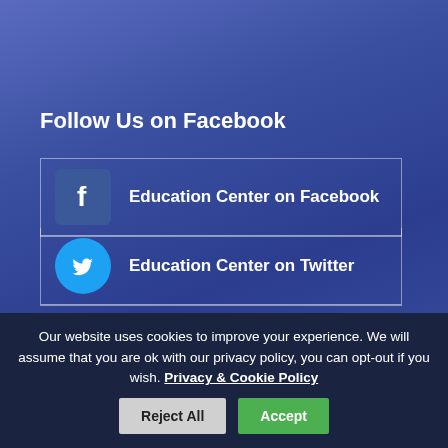Follow Us on Facebook
[Figure (screenshot): Facebook icon button linking to Education Center on Facebook]
[Figure (screenshot): Twitter icon button linking to Education Center on Twitter]
[Figure (logo): St Luke's Home Cork logo with 'Visit St Luke's website' text]
Our website uses cookies to improve your experience. We will assume that you are ok with our privacy policy, you can opt-out if you wish. Privacy & Cookie Policy
Reject All | Accept